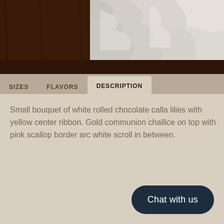[Figure (photo): Partial view of white rolled chocolate calla lilies on a dark wooden surface, showing crinkled foil or petal texture in silver/white tones against a dark brown wood background.]
SIZES   FLAVORS   DESCRIPTION
Small bouquet of white rolled chocolate calla lilies with yellow center ribbon. Gold communion challice on top with pink scallop border arc white scroll in between.
Chat with us